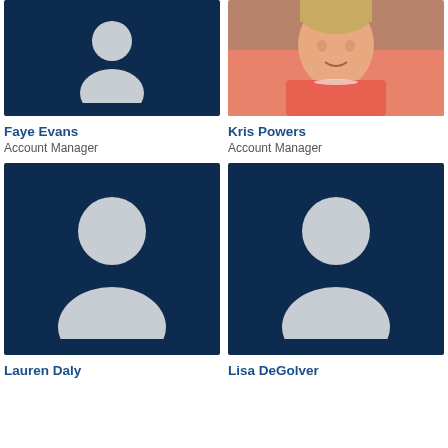[Figure (photo): Placeholder profile photo for Faye Evans, dark navy background with generic person silhouette icon]
[Figure (photo): Photo of Kris Powers, a woman with short blonde hair wearing a coral/pink top, smiling, with brick wall background]
Faye Evans
Account Manager
Kris Powers
Account Manager
[Figure (photo): Placeholder profile photo for Lauren Daly, dark navy background with generic person silhouette icon]
[Figure (photo): Placeholder profile photo for Lisa DeGolver, dark navy background with generic person silhouette icon]
Lauren Daly
Lisa DeGolver